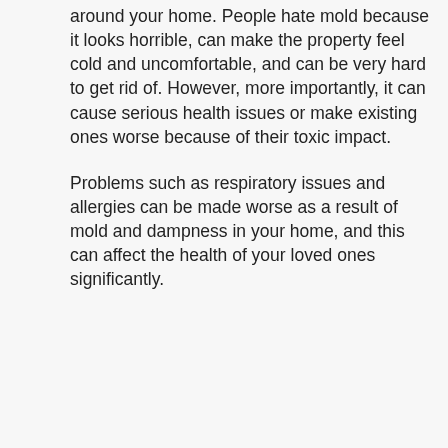around your home. People hate mold because it looks horrible, can make the property feel cold and uncomfortable, and can be very hard to get rid of. However, more importantly, it can cause serious health issues or make existing ones worse because of their toxic impact.
Problems such as respiratory issues and allergies can be made worse as a result of mold and dampness in your home, and this can affect the health of your loved ones significantly.